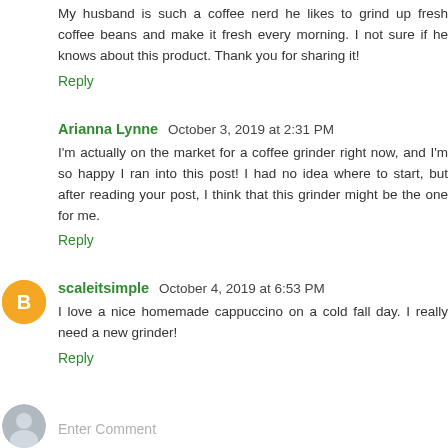My husband is such a coffee nerd he likes to grind up fresh coffee beans and make it fresh every morning. I not sure if he knows about this product. Thank you for sharing it!
Reply
Arianna Lynne  October 3, 2019 at 2:31 PM
I'm actually on the market for a coffee grinder right now, and I'm so happy I ran into this post! I had no idea where to start, but after reading your post, I think that this grinder might be the one for me.
Reply
scaleitsimple  October 4, 2019 at 6:53 PM
I love a nice homemade cappuccino on a cold fall day. I really need a new grinder!
Reply
Enter Comment